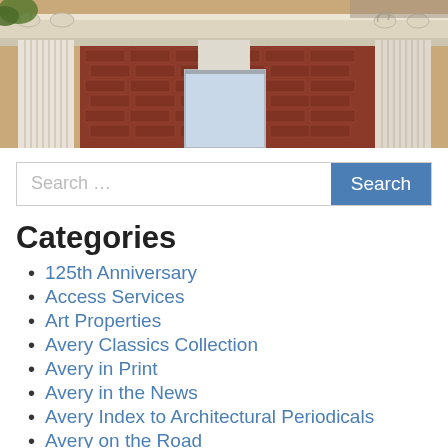[Figure (photo): Photograph of classical Ionic columns on a brick building facade, showing ornate scroll capitals at the top. The columns are white/cream colored against red brick with a window visible in the background.]
Search …
Categories
125th Anniversary
Access Services
Art Properties
Avery Classics Collection
Avery in Print
Avery in the News
Avery Index to Architectural Periodicals
Avery on the Road
Avery Staff news